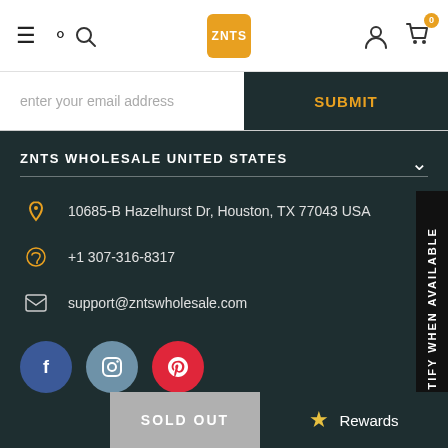[Figure (screenshot): Website navigation bar with hamburger menu, search icon, ZNTS logo, user icon, and cart icon with 0 badge]
enter your email address
SUBMIT
ZNTS WHOLESALE UNITED STATES
10685-B Hazelhurst Dr, Houston, TX 77043 USA
+1 307-316-8317
support@zntswholesale.com
[Figure (illustration): Social media icons: Facebook (blue circle), Instagram (blue-gray circle), Pinterest (red circle)]
NOTIFY WHEN AVAILABLE
SOLD OUT
Rewards